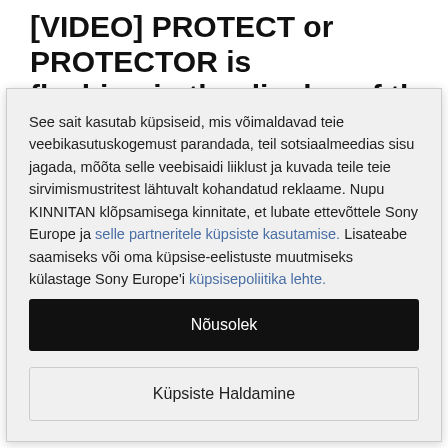[VIDEO] PROTECT or PROTECTOR is flashing in the display of the home
See sait kasutab küpsiseid, mis võimaldavad teie veebikasutuskogemust parandada, teil sotsiaalmeedias sisu jagada, mõõta selle veebisaidi liiklust ja kuvada teile teie sirvimismustritest lähtuvalt kohandatud reklaame. Nupu KINNITAN klõpsamisega kinnitate, et lubate ettevõttele Sony Europe ja selle partneritele küpsiste kasutamise. Lisateabe saamiseks või oma küpsise-eelistuste muutmiseks külastage Sony Europe'i küpsisepoliitika lehte.
Nõusolek
Küpsiste Haldamine